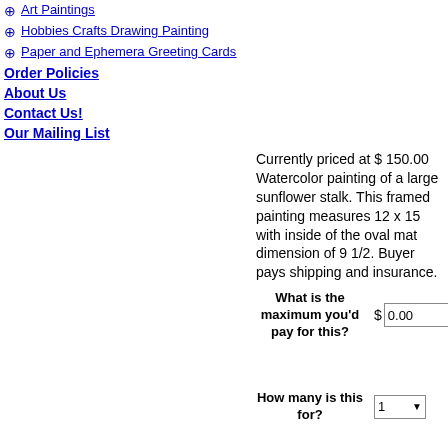Art Paintings
Hobbies Crafts Drawing Painting
Paper and Ephemera Greeting Cards
Order Policies
About Us
Contact Us!
Our Mailing List
Currently priced at $ 150.00 Watercolor painting of a large sunflower stalk. This framed painting measures 12 x 15 with inside of the oval mat dimension of 9 1/2. Buyer pays shipping and insurance.
[Figure (photo): Watercolor painting of a sunflower on a dark background, displayed in an oval white mat]
What is the maximum you'd pay for this?
$ 0.00
How many is this for?
1